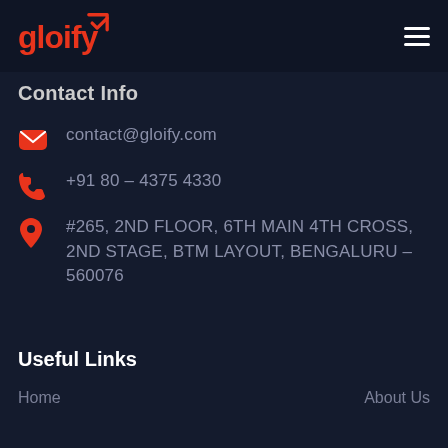gloify
Contact Info
contact@gloify.com
+91 80 – 4375 4330
#265, 2ND FLOOR, 6TH MAIN 4TH CROSS, 2ND STAGE, BTM LAYOUT, BENGALURU – 560076
Useful Links
Home
About Us